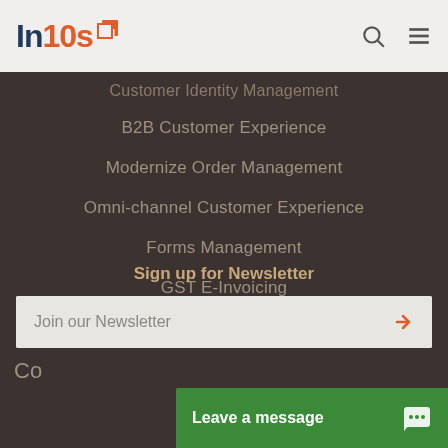[Figure (logo): In10s logo with orange and navy text and small flag/arrow icon]
Customer Identity Management
B2B Customer Experience
Modernize Order Management
Omni-channel Customer Experience
Forms Management
GST E-Invoicing
Sign up for Newsletter
Join our Newsletter
Leave a message